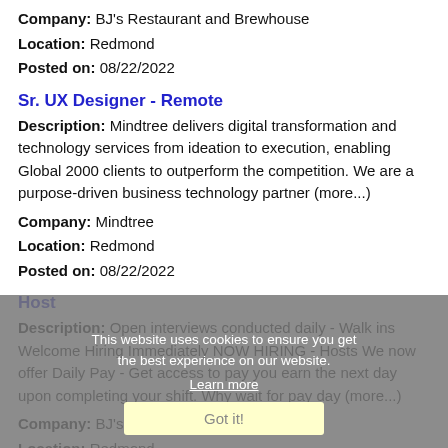Company: BJ's Restaurant and Brewhouse
Location: Redmond
Posted on: 08/22/2022
Sr. UX Designer - Remote
Description: Mindtree delivers digital transformation and technology services from ideation to execution, enabling Global 2000 clients to outperform the competition. We are a purpose-driven business technology partner (more...)
Company: Mindtree
Location: Redmond
Posted on: 08/22/2022
Host
Description: Open interviews conducted daily - Walk ins Welcome Hiring Immediately NOW HIRING - Hosts We now offer Daily Pay - Get access to pay you earn the next day upon completing your shift. Why wait for pay day (more...)
Company: BJ's Restaurant and Brewhouse
Location: Redmond
Posted on: 08/22/2022
Salary in Olympia, Washington Area | More details for Olympia, Washington Jobs |Salary